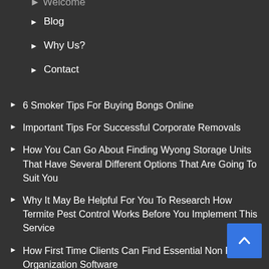Welcome
Blog
Why Us?
Contact
6 Smoker Tips For Buying Bongs Online
Important Tips For Successful Corporate Removals
How You Can Go About Finding Wyong Storage Units That Have Several Different Options That Are Going To Suit You
Why It May Be Helpful For You To Research How Termite Pest Control Works Before You Implement This Service
How First Time Clients Can Find Essential Non Profit Organization Software